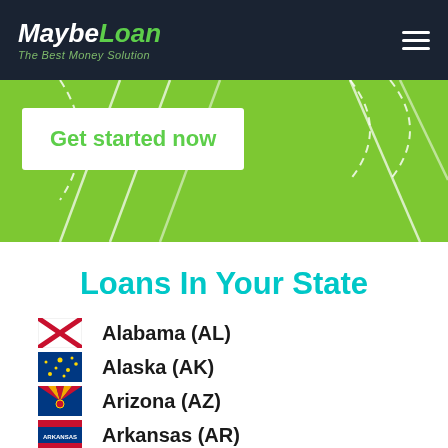MaybeLoan — The Best Money Solution
[Figure (screenshot): Green hero banner with white field lines and a white 'Get started now' call-to-action button]
Loans In Your State
Alabama (AL)
Alaska (AK)
Arizona (AZ)
Arkansas (AR)